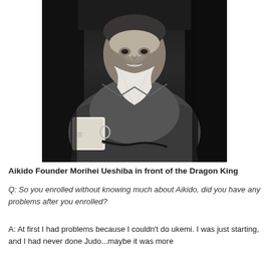[Figure (photo): Black and white portrait photograph of an elderly Japanese man with a long white beard, wearing a traditional kimono/hakama, holding a ceramic cup. This is Aikido founder Morihei Ueshiba.]
Aikido Founder Morihei Ueshiba in front of the Dragon King
Q: So you enrolled without knowing much about Aikido, did you have any problems after you enrolled?
A: At first I had problems because I couldn't do ukemi. I was just starting, and I had never done Judo...maybe it was more